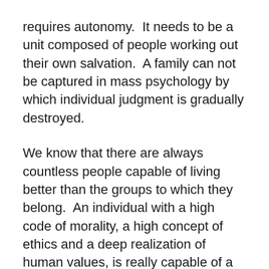requires autonomy.  It needs to be a unit composed of people working out their own salvation.  A family can not be captured in mass psychology by which individual judgment is gradually destroyed.
We know that there are always countless people capable of living better than the groups to which they belong.  An individual with a high code of morality, a high concept of ethics and a deep realization of human values, is really capable of a life superior to the general run of his own generation.
Yet by circumstances, this person commits themself to their generation.  They find that their virtues come into conflict with popular vices. They discover that they are out of step with prevailing fashions. They suddenly realize that in order to be admired, respected, and successful in a